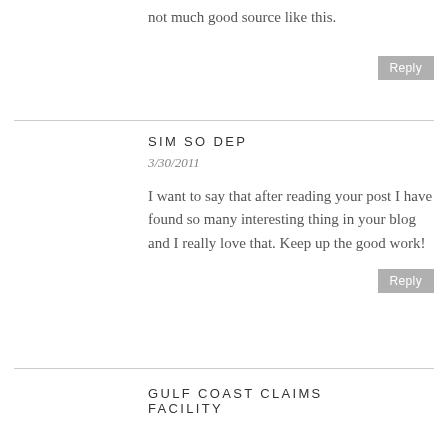not much good source like this.
Reply
SIM SO DEP
3/30/2011
I want to say that after reading your post I have found so many interesting thing in your blog and I really love that. Keep up the good work!
Reply
GULF COAST CLAIMS FACILITY